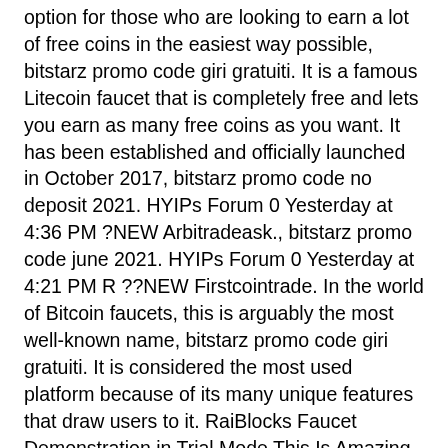option for those who are looking to earn a lot of free coins in the easiest way possible, bitstarz promo code giri gratuiti. It is a famous Litecoin faucet that is completely free and lets you earn as many free coins as you want. It has been established and officially launched in October 2017, bitstarz promo code no deposit 2021. HYIPs Forum 0 Yesterday at 4:36 PM ?NEW Arbitradeask., bitstarz promo code june 2021. HYIPs Forum 0 Yesterday at 4:21 PM R ??NEW Firstcointrade. In the world of Bitcoin faucets, this is arguably the most well-known name, bitstarz promo code giri gratuiti. It is considered the most used platform because of its many unique features that draw users to it. RaiBlocks Faucet Demonstration in Trial Mode This Is Amazing, bitstarz promo code gratisspinn. No more having to run to the computer 5-6 times a day to collect coins It's working like a charm m8, I am using it for month now and support is awesome At t t t